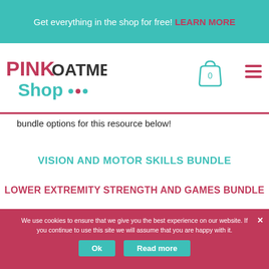Get everything in the shop for free! LEARN MORE
[Figure (logo): Pink Oatmeal Shop logo with teal and pink text]
[Figure (other): Shopping cart icon with 0 items and hamburger menu icon]
bundle options for this resource below!
VISION AND MOTOR SKILLS BUNDLE
LOWER EXTREMITY STRENGTH AND GAMES BUNDLE
We use cookies to ensure that we give you the best experience on our website. If you continue to use this site we will assume that you are happy with it.